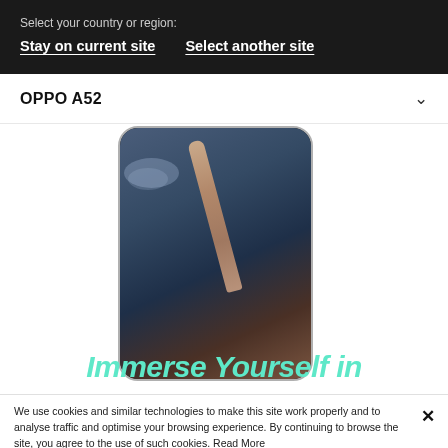Select your country or region:
Stay on current site   Select another site
OPPO A52
[Figure (photo): OPPO A52 smartphone mockup showing a person raising their arm against a blue sky background, with the tagline 'Immerse Yourself in' overlaid in teal italic text]
We use cookies and similar technologies to make this site work properly and to analyse traffic and optimise your browsing experience. By continuing to browse the site, you agree to the use of such cookies. Read More